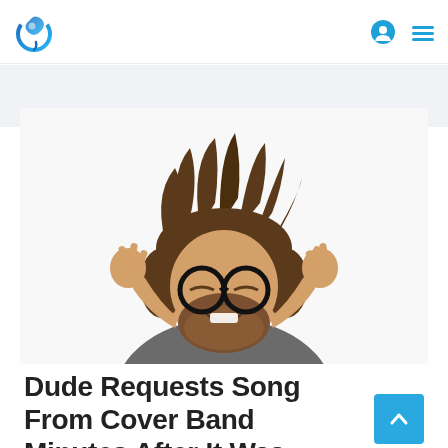[Figure (logo): Circular blue music note / drop logo for a music website]
[Figure (photo): Man with wild messy hair, round black glasses, crossed fingers, smiling, beard, white background]
Dude Requests Song From Cover Band Minutes After It Was